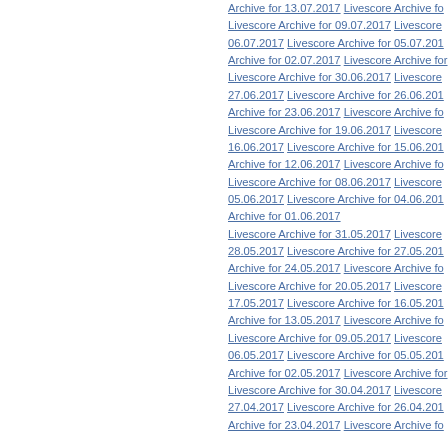Archive for 13.07.2017  Livescore Archive fo... Livescore Archive for 09.07.2017  Livescore... 06.07.2017  Livescore Archive for 05.07.201... Archive for 02.07.2017  Livescore Archive for... Livescore Archive for 30.06.2017  Livescore... 27.06.2017  Livescore Archive for 26.06.201... Archive for 23.06.2017  Livescore Archive fo... Livescore Archive for 19.06.2017  Livescore... 16.06.2017  Livescore Archive for 15.06.201... Archive for 12.06.2017  Livescore Archive fo... Livescore Archive for 08.06.2017  Livescore... 05.06.2017  Livescore Archive for 04.06.201... Archive for 01.06.2017  Livescore Archive for 31.05.2017  Livescore... 28.05.2017  Livescore Archive for 27.05.201... Archive for 24.05.2017  Livescore Archive fo... Livescore Archive for 20.05.2017  Livescore... 17.05.2017  Livescore Archive for 16.05.201... Archive for 13.05.2017  Livescore Archive fo... Livescore Archive for 09.05.2017  Livescore... 06.05.2017  Livescore Archive for 05.05.201... Archive for 02.05.2017  Livescore Archive for... Livescore Archive for 30.04.2017  Livescore... 27.04.2017  Livescore Archive for 26.04.201... Archive for 23.04.2017  Livescore Archive fo...